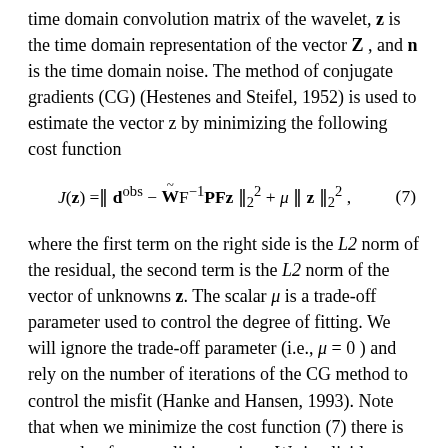time domain convolution matrix of the wavelet, z is the time domain representation of the vector Z, and n is the time domain noise. The method of conjugate gradients (CG) (Hestenes and Steifel, 1952) is used to estimate the vector z by minimizing the following cost function
where the first term on the right side is the L2 norm of the residual, the second term is the L2 norm of the vector of unknowns z. The scalar μ is a trade-off parameter used to control the degree of fitting. We will ignore the trade-off parameter (i.e., μ = 0) and rely on the number of iterations of the CG method to control the misfit (Hanke and Hansen, 1993). Note that when we minimize the cost function (7) there is no need to form explicit matrices. We implicitly compute matrix times vector multiplications. This strategy was also discussed in Wang and Sacchi (2005) and described in